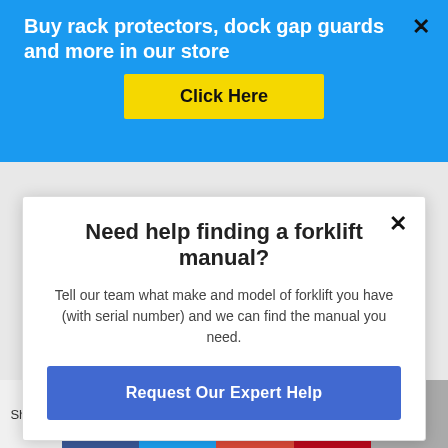Buy rack protectors, dock gap guards and more in our store
Click Here
Need help finding a forklift manual?
Tell our team what make and model of forklift you have (with serial number) and we can find the manual you need.
Request Our Expert Help
[Figure (screenshot): Partially visible webpage with a curl effect in the corner and a blue side tab]
[Figure (screenshot): Store card showing PetSmart Sterling OPEN 9AM-9PM with logo and navigation arrow]
Shares
[Figure (infographic): Social media sharing bar with Facebook, Twitter, Google+, Pinterest, and email icons]